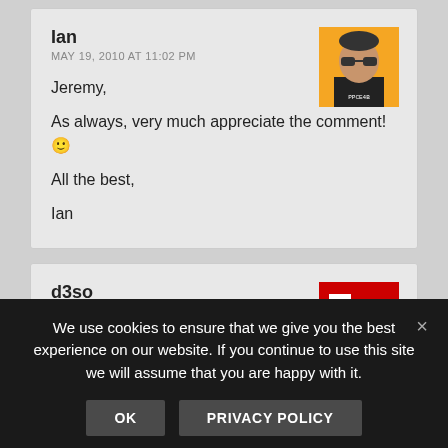Ian
MAY 19, 2010 AT 11:02 PM
Jeremy,
As always, very much appreciate the comment! 🙂
All the best,
Ian
d3so
MAY 21, 2010 AT 3:58 PM
Nice review. I post once every two weeks, which isn't good at all, but when I do post I get a spike of traffic. I
We use cookies to ensure that we give you the best experience on our website. If you continue to use this site we will assume that you are happy with it.